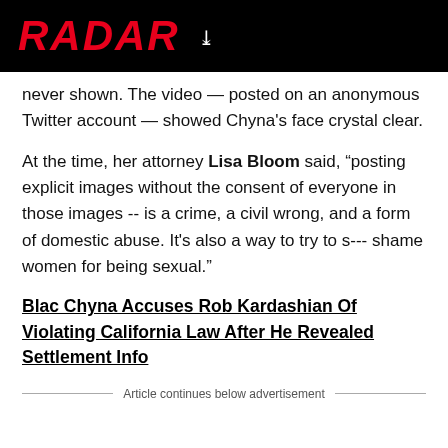RADAR
never shown. The video — posted on an anonymous Twitter account — showed Chyna's face crystal clear.
At the time, her attorney Lisa Bloom said, “posting explicit images without the consent of everyone in those images -- is a crime, a civil wrong, and a form of domestic abuse. It’s also a way to try to s--- shame women for being sexual.”
Blac Chyna Accuses Rob Kardashian Of Violating California Law After He Revealed Settlement Info
Article continues below advertisement